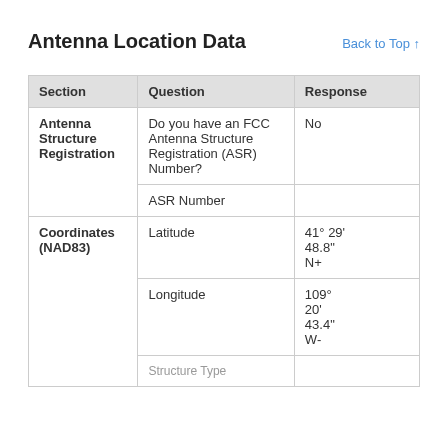Antenna Location Data
| Section | Question | Response |
| --- | --- | --- |
| Antenna Structure Registration | Do you have an FCC Antenna Structure Registration (ASR) Number? | No |
|  | ASR Number |  |
| Coordinates (NAD83) | Latitude | 41° 29' 48.8" N+ |
|  | Longitude | 109° 20' 43.4" W- |
|  | Structure Type |  |